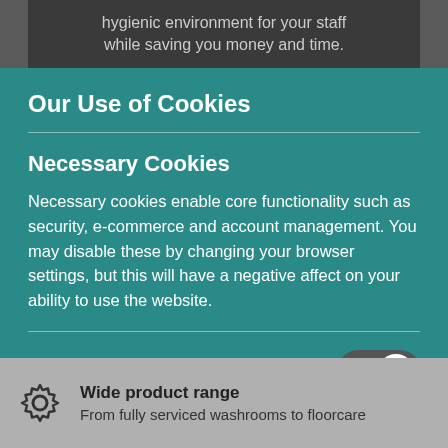hygienic environment for your staff while saving you money and time.
Our Use of Cookies
Necessary Cookies
Necessary cookies enable core functionality such as security, e-commerce and account management. You may disable these by changing your browser settings, but this will have a negative affect on your ability to use the website.
Analytics Cookies
We use analytics services from Google and Microsoft to
Wide product range
From fully serviced washrooms to floorcare